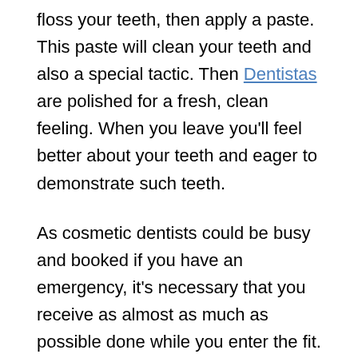floss your teeth, then apply a paste. This paste will clean your teeth and also a special tactic. Then Dentistas are polished for a fresh, clean feeling. When you leave you'll feel better about your teeth and eager to demonstrate such teeth.
As cosmetic dentists could be busy and booked if you have an emergency, it's necessary that you receive as almost as much as possible done while you enter the fit. This saves both time and money. You never know as soon as the next appointment will be open so a person come back.
Individual Plan or Family Plan? Family portrait plan delivers the same advantages to all the members of